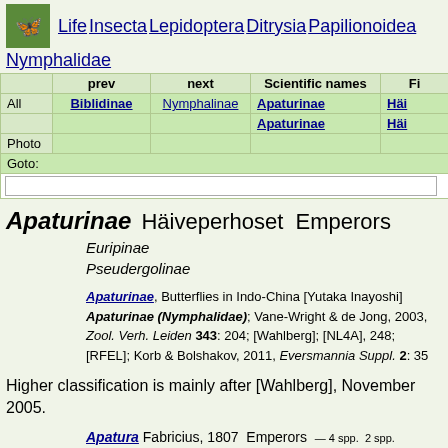Life  Insecta  Lepidoptera  Ditrysia  Papilionoidea  Nymphalidae
|  | prev | next | Scientific names | Fi |
| --- | --- | --- | --- | --- |
| All | Biblidinae | Nymphalinae | Apaturinae | Häi |
|  |  |  | Apaturinae | Häi |
| Photo |  |  |  |  |
| Goto: |  |  |  |  |
| [input] |  |  |  |  |
Apaturinae  Häiveperhoset  Emperors
Euripinae
Pseudergolinae
Apaturinae, Butterflies in Indo-China [Yutaka Inayoshi]; Apaturinae (Nymphalidae); Vane-Wright & de Jong, 2003, Zool. Verh. Leiden 343: 204; [Wahlberg]; [NL4A], 248; [RFEL]; Korb & Bolshakov, 2011, Eversmannia Suppl. 2: 35
Higher classification is mainly after [Wahlberg], November 2005.
Apatura Fabricius, 1807  Emperors — 4 spp.  2 spp.
Mimathyma Moore, [1896] — 5 spp.
Chitoria Moore, [1896]